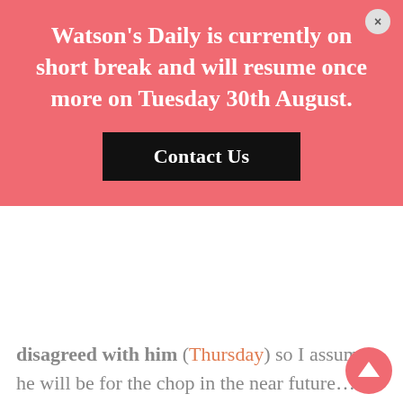Watson's Daily is currently on short break and will resume once more on Tuesday 30th August.
Contact Us
disagreed with him (Thursday) so I assume he will be for the chop in the near future...
IN EUROPE – the ECB announced it would be putting €600bn more into the existing bond-buying programme (Friday) and an extension of the scheme until at least June 2021. Germany announced a €130bn economic stimulus (Thursday) which comprised